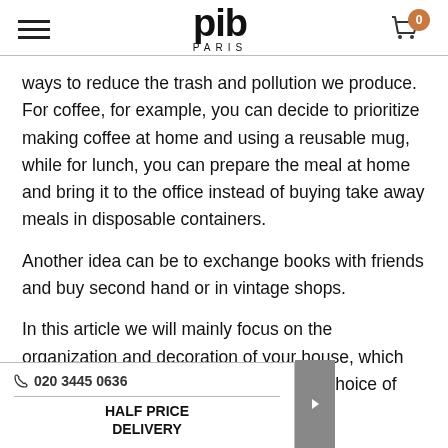pib PARIS — navigation and cart
ways to reduce the trash and pollution we produce. For coffee, for example, you can decide to prioritize making coffee at home and using a reusable mug, while for lunch, you can prepare the meal at home and bring it to the office instead of buying take away meals in disposable containers.
Another idea can be to exchange books with friends and buy second hand or in vintage shops.
In this article we will mainly focus on the organization and decoration of your house, which concerns with everything related to the choice of sustainable furniture and furnishing
020 3445 0636 | HALF PRICE DELIVERY